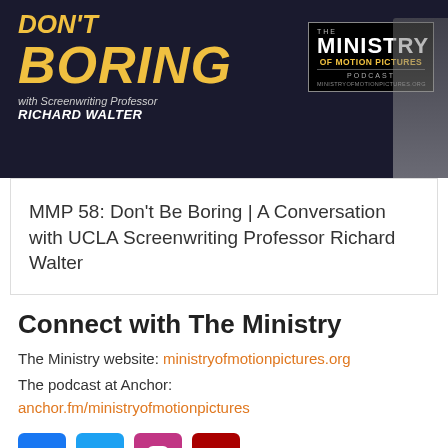[Figure (illustration): Podcast banner for 'Don't Be Boring with Screenwriting Professor Richard Walter' – Ministry of Motion Pictures Podcast. Dark background with yellow bold text and ministry logo box.]
MMP 58: Don't Be Boring | A Conversation with UCLA Screenwriting Professor Richard Walter
Connect with The Ministry
The Ministry website: ministryofmotionpictures.org
The podcast at Anchor: anchor.fm/ministryofmotionpictures
[Figure (illustration): Social media icons: Facebook (blue), Twitter (light blue), Instagram (pink/magenta), YouTube (dark red)]